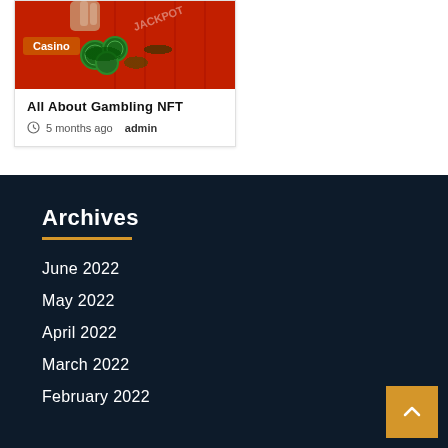[Figure (photo): Casino table with poker chips on a red background, partially visible at the top of the card]
Casino
All About Gambling NFT
5 months ago  admin
Archives
June 2022
May 2022
April 2022
March 2022
February 2022